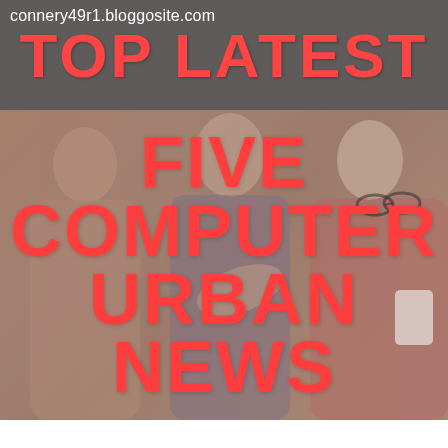connery49r1.bloggosite.com
TOP LATEST
[Figure (photo): Three young people in conversation, smiling and gesturing, with a blurred indoor background. A man in the center appears to be gesturing with his hand while two women on either sides engage with him. One woman on the right holds a white cup/mug.]
FIVE COMPUTER URBAN NEWS